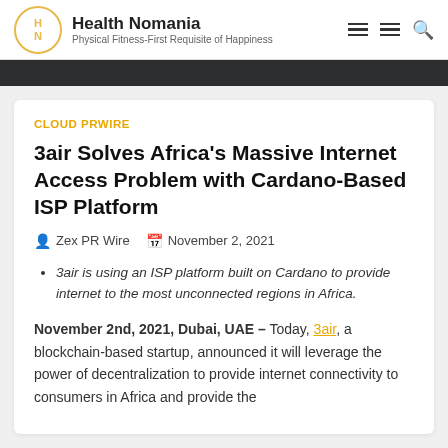Health Nomania – Physical Fitness-First Requisite of Happiness
CLOUD PRWIRE
3air Solves Africa's Massive Internet Access Problem with Cardano-Based ISP Platform
Zex PR Wire   November 2, 2021
3air is using an ISP platform built on Cardano to provide internet to the most unconnected regions in Africa.
November 2nd, 2021, Dubai, UAE – Today, 3air, a blockchain-based startup, announced it will leverage the power of decentralization to provide internet connectivity to consumers in Africa and provide the